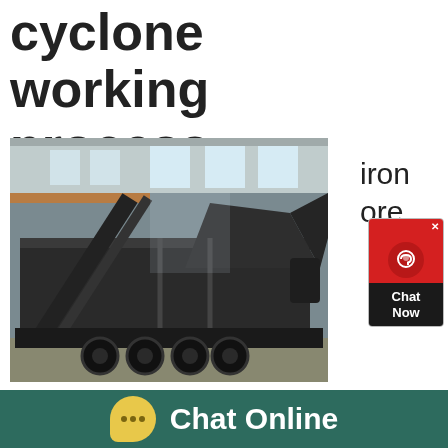cyclone working process
[Figure (photo): Industrial heavy machinery - mobile crushing/processing plant on a truck trailer inside a factory/warehouse, with a conveyor belt ramp and hopper, large wheels visible]
iron ore
Chat Now
beneficiation cyclone working
Chat Online